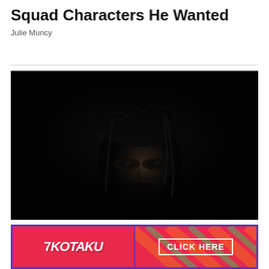Squad Characters He Wanted
Julie Muncy
[Figure (photo): Dark cinematic still of a Batman character (Robert Pattinson) with wet hair, dramatic shadows, looking downward in near-darkness]
IN REAL LIFE
2 YEARS AGO
The Batman Pauses Production as Robert Pattin…
[Figure (other): Kotaku advertisement banner. Left side: red background with Kotaku logo in white italic. Right side: diagonal striped pattern with CLICK HERE button outlined in white.]